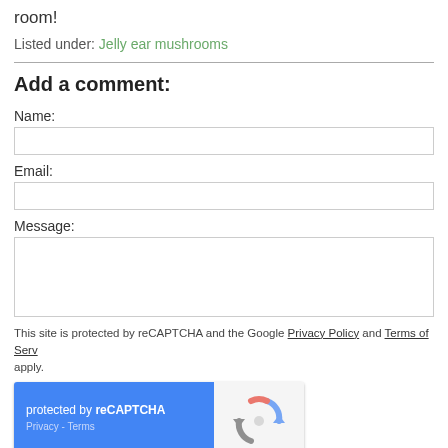room!
Listed under: Jelly ear mushrooms
Add a comment:
Name:
Email:
Message:
This site is protected by reCAPTCHA and the Google Privacy Policy and Terms of Service apply.
[Figure (other): reCAPTCHA widget with blue background showing 'protected by reCAPTCHA' text, Privacy and Terms links, and Google reCAPTCHA logo on the right side]
Post Comment